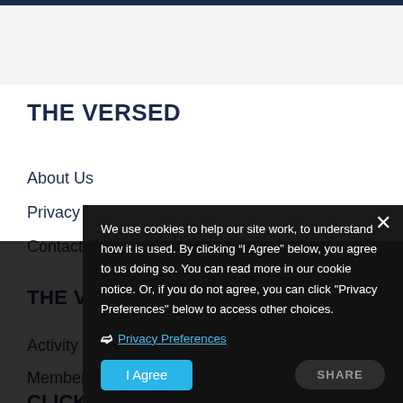THE VERSED
About Us
Privacy
Contact Us
THE VERSED
Activity
Members
CLICKON Media
We use cookies to help our site work, to understand how it is used. By clicking “I Agree” below, you agree to us doing so. You can read more in our cookie notice. Or, if you do not agree, you can click "Privacy Preferences" below to access other choices.
❯ Privacy Preferences
I Agree
SHARE